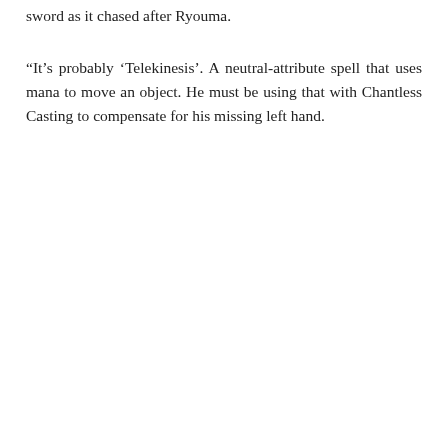sword as it chased after Ryouma.
“It’s probably ‘Telekinesis’. A neutral-attribute spell that uses mana to move an object. He must be using that with Chantless Casting to compensate for his missing left hand.